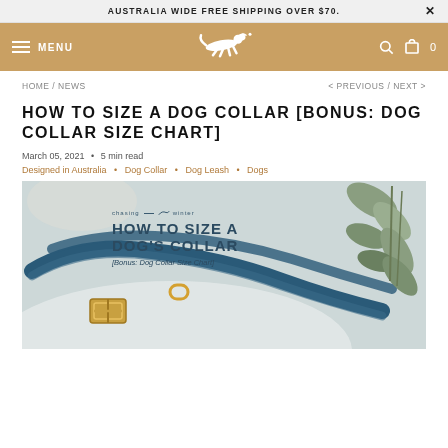AUSTRALIA WIDE FREE SHIPPING OVER $70.
[Figure (screenshot): Navigation bar with hamburger menu, MENU text, running dog logo on tan/brown background, search icon and cart with 0 items]
HOME / NEWS
< PREVIOUS / NEXT >
HOW TO SIZE A DOG COLLAR [BONUS: DOG COLLAR SIZE CHART]
March 05, 2021 • 5 min read
Designed in Australia • Dog Collar • Dog Leash • Dogs
[Figure (photo): Photo of a blue leather dog collar with gold buckle on white background, with eucalyptus leaves on the right side. Text overlay reads: chasing winter, HOW TO SIZE A DOG'S COLLAR, [Bonus: Dog Collar Size Chart]]